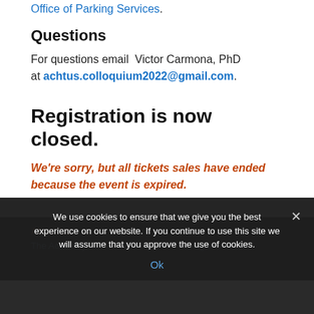Office of Parking Services.
Questions
For questions email  Victor Carmona, PhD at achtus.colloquium2022@gmail.com.
Registration is now closed.
We're sorry, but all tickets sales have ended because the event is expired.
We use cookies to ensure that we give you the best experience on our website. If you continue to use this site we will assume that you approve the use of cookies.
Ok
About Us
The Academy of Catholic Hispanic Theologians of the